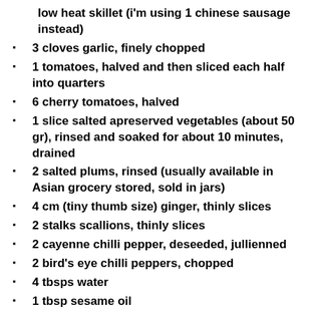low heat skillet (i'm using 1 chinese sausage instead)
3 cloves garlic, finely chopped
1 tomatoes, halved and then sliced each half into quarters
6 cherry tomatoes, halved
1 slice salted apreserved vegetables (about 50 gr), rinsed and soaked for about 10 minutes, drained
2 salted plums, rinsed (usually available in Asian grocery stored, sold in jars)
4 cm (tiny thumb size) ginger, thinly slices
2 stalks scallions, thinly slices
2 cayenne chilli pepper, deseeded, jullienned
2 bird's eye chilli peppers, chopped
4 tbsps water
1 tbsp sesame oil